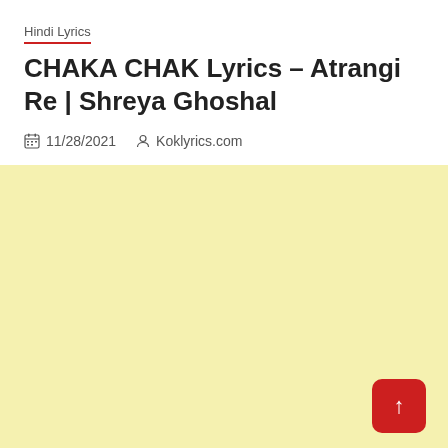Hindi Lyrics
CHAKA CHAK Lyrics – Atrangi Re | Shreya Ghoshal
11/28/2021  Koklyrics.com
[Figure (other): Large light yellow background content area with a red scroll-to-top button in the bottom right corner containing an upward arrow.]